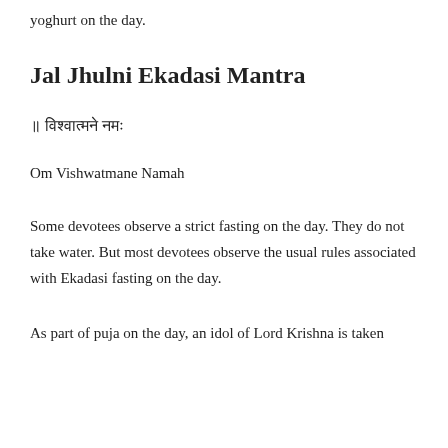yoghurt on the day.
Jal Jhulni Ekadasi Mantra
॥ विश्वात्मने नमः
Om Vishwatmane Namah
Some devotees observe a strict fasting on the day. They do not take water. But most devotees observe the usual rules associated with Ekadasi fasting on the day.
As part of puja on the day, an idol of Lord Krishna is taken